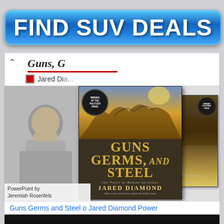[Figure (illustration): Blue button advertisement banner reading FIND SUV DEALS in bold white text on a blue gradient rounded rectangle button]
[Figure (screenshot): Screenshot of a webpage showing the book 'Guns, Germs, and Steel' by Jared Diamond with book cover images and an author photo. The main book cover shows the Pulitzer Prize winner badge. Text shows 'PowerPoint by Jeremiah Rosenfels']
Guns Germs and Steel o Jared Diamond Power
[Figure (photo): Black/dark area at bottom, appears to be a video or image preview]